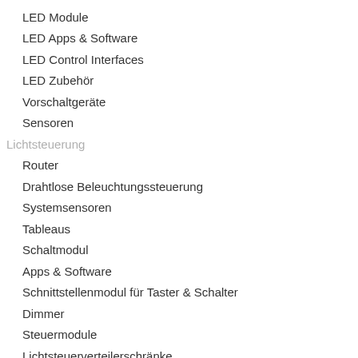LED Module
LED Apps & Software
LED Control Interfaces
LED Zubehör
Vorschaltgeräte
Sensoren
Lichtsteuerung
Router
Drahtlose Beleuchtungssteuerung
Systemsensoren
Tableaus
Schaltmodul
Apps & Software
Schnittstellenmodul für Taster & Schalter
Dimmer
Steuermodule
Lichtsteuerverteilerschränke
Gateways
Zubehör